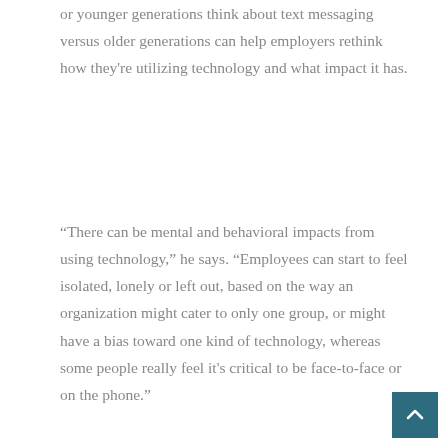or younger generations think about text messaging versus older generations can help employers rethink how they're utilizing technology and what impact it has.
“There can be mental and behavioral impacts from using technology,” he says. “Employees can start to feel isolated, lonely or left out, based on the way an organization might cater to only one group, or might have a bias toward one kind of technology, whereas some people really feel it's critical to be face-to-face or on the phone.”
It’s critical employers learn and understand the makeup of their workforce, and tailor their communication strategy to their needs, Serxner says. Employers can drive up